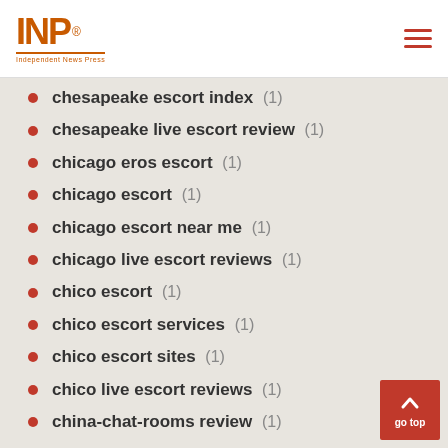INP logo and navigation
chesapeake escort index (1)
chesapeake live escort review (1)
chicago eros escort (1)
chicago escort (1)
chicago escort near me (1)
chicago live escort reviews (1)
chico escort (1)
chico escort services (1)
chico escort sites (1)
chico live escort reviews (1)
china-chat-rooms review (1)